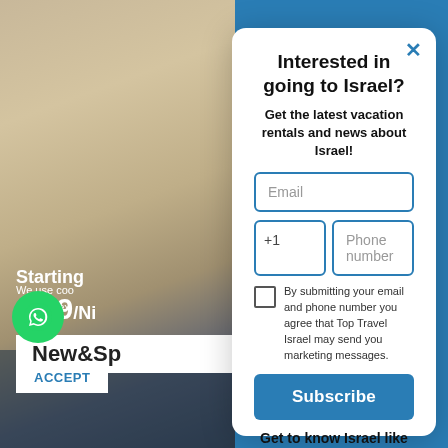[Figure (screenshot): Background room photo with overlay showing 'Starting $159/Night' text]
New&Sp
We use coo relevant ex ence y nse
ACCEPT
Interested in going to Israel?
Get the latest vacation rentals and news about Israel!
Email
+1
Phone number
By submitting your email and phone number you agree that Top Travel Israel may send you marketing messages.
Subscribe
Get to know Israel like never before!